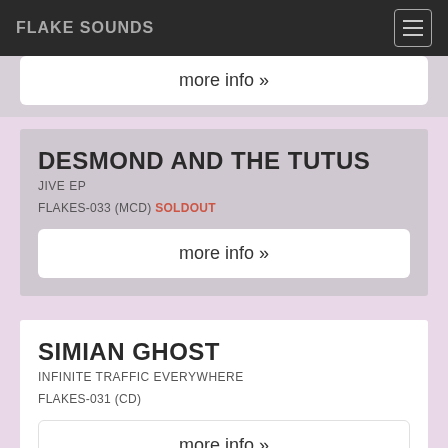FLAKE SOUNDS
more info »
DESMOND AND THE TUTUS
JIVE EP
FLAKES-033 (MCD) SOLDOUT
more info »
SIMIAN GHOST
INFINITE TRAFFIC EVERYWHERE
FLAKES-031 (CD)
more info »